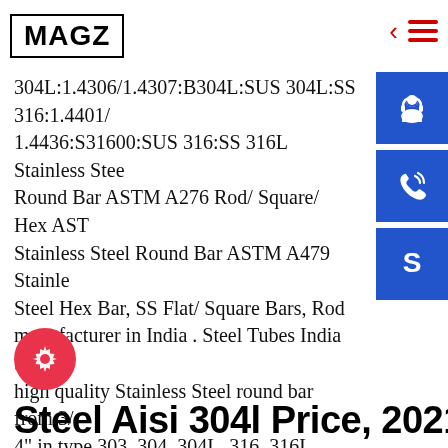MAGZ
304L:1.4306/1.4307:B304L:SUS 304L:SS 316:1.4401/1.4436:S31600:SUS 316:SS 316L Stainless Steel Round Bar ASTM A276 Rod/ Square/ Hex ASTM Stainless Steel Round Bar ASTM A479 Stainless Steel Hex Bar, SS Flat/ Square Bars, Rod manufacturer in India . Steel Tubes India Stocks high quality Stainless Steel round bar from 3/4" in type 303, 304, 304L, 316, 316L, 410, 416, a 440C grades. SS bar shapes are in stock round, flat, square, angle and hexagonal in grades 303, 304 and 316, we have various sizes available in
Steel Aisi 304l Price, 2021